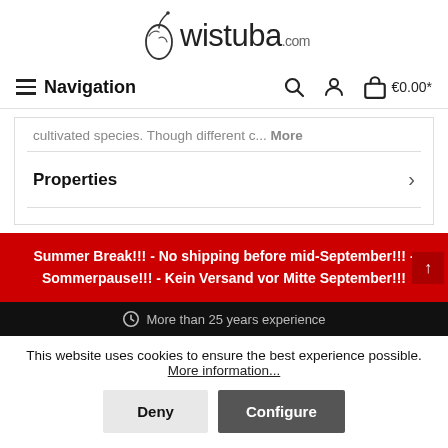[Figure (logo): wistuba.com logo with stylized plant/seed icon]
Navigation   €0.00*
cultivated species. Though different c... More
Properties
Summer Break!!! - No shipping before mid-September!!! - Sommerpause!!! - Kein Versand vor Mitte September!!!
More than 25 years experience
This website uses cookies to ensure the best experience possible. More information...
Deny   Configure